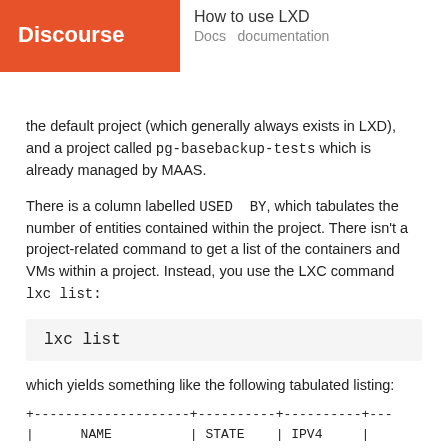Discourse | How to use LXD
Docs documentation
the default project (which generally always exists in LXD), and a project called pg-basebackup-tests which is already managed by MAAS.
There is a column labelled USED BY, which tabulates the number of entities contained within the project. There isn't a project-related command to get a list of the containers and VMs within a project. Instead, you use the LXC command lxc list:
which yields something like the following tabulated listing:
| NAME | STATE | IPV4 |
| --- | --- | --- |
| trusty-drake | STOPPED |  |
1/1